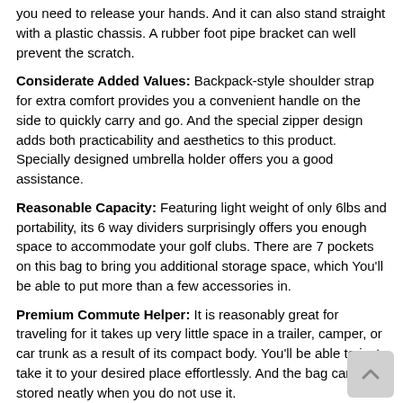you need to release your hands. And it can also stand straight with a plastic chassis. A rubber foot pipe bracket can well prevent the scratch.
Considerate Added Values: Backpack-style shoulder strap for extra comfort provides you a convenient handle on the side to quickly carry and go. And the special zipper design adds both practicability and aesthetics to this product. Specially designed umbrella holder offers you a good assistance.
Reasonable Capacity: Featuring light weight of only 6lbs and portability, its 6 way dividers surprisingly offers you enough space to accommodate your golf clubs. There are 7 pockets on this bag to bring you additional storage space, which You'll be able to put more than a few accessories in.
Premium Commute Helper: It is reasonably great for traveling for it takes up very little space in a trailer, camper, or car trunk as a result of its compact body. You'll be able to just take it to your desired place effortlessly. And the bag can be stored neatly when you do not use it.